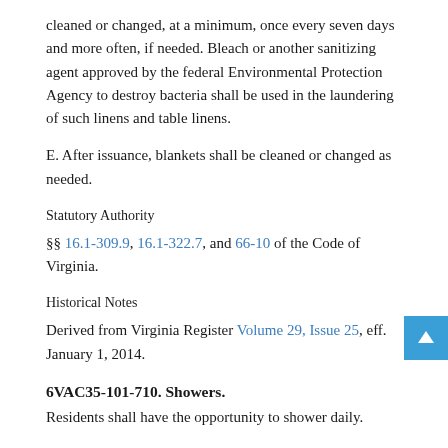cleaned or changed, at a minimum, once every seven days and more often, if needed. Bleach or another sanitizing agent approved by the federal Environmental Protection Agency to destroy bacteria shall be used in the laundering of such linens and table linens.
E. After issuance, blankets shall be cleaned or changed as needed.
Statutory Authority
§§ 16.1-309.9, 16.1-322.7, and 66-10 of the Code of Virginia.
Historical Notes
Derived from Virginia Register Volume 29, Issue 25, eff. January 1, 2014.
6VAC35-101-710. Showers.
Residents shall have the opportunity to shower daily.
Statutory Authority
§§ 16.1-309.9, 16.1-322.7, and 66-10 of the Code of Virginia.